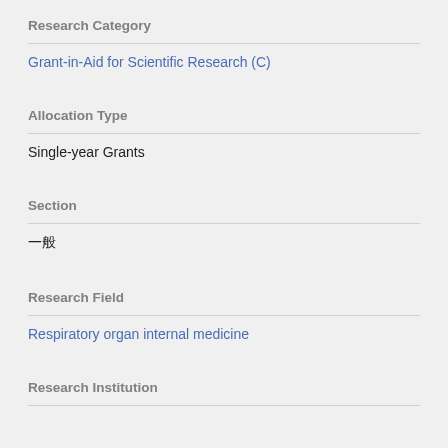Research Category
Grant-in-Aid for Scientific Research (C)
Allocation Type
Single-year Grants
Section
一般
Research Field
Respiratory organ internal medicine
Research Institution